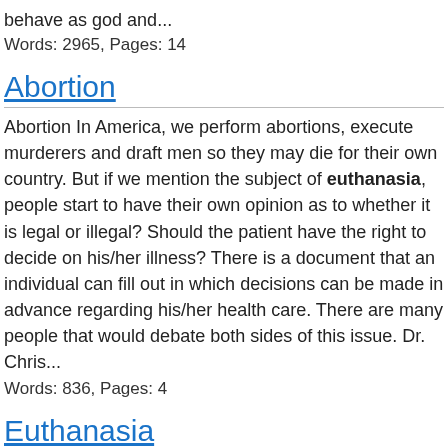behave as god and...
Words: 2965, Pages: 14
Abortion
Abortion In America, we perform abortions, execute murderers and draft men so they may die for their own country. But if we mention the subject of euthanasia, people start to have their own opinion as to whether it is legal or illegal? Should the patient have the right to decide on his/her illness? There is a document that an individual can fill out in which decisions can be made in advance regarding his/her health care. There are many people that would debate both sides of this issue. Dr. Chris...
Words: 836, Pages: 4
Euthanasia